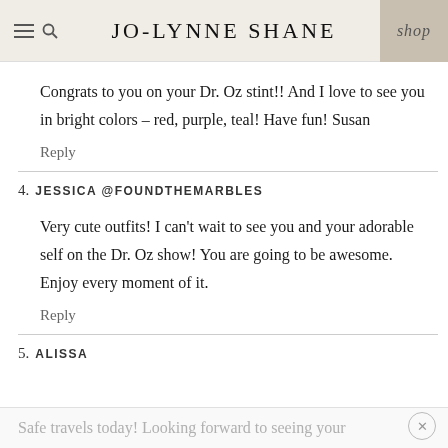JO-LYNNE SHANE  shop
Congrats to you on your Dr. Oz stint!! And I love to see you in bright colors – red, purple, teal! Have fun! Susan
Reply
4. JESSICA @FOUNDTHEMARBLES
Very cute outfits! I can't wait to see you and your adorable self on the Dr. Oz show! You are going to be awesome. Enjoy every moment of it.
Reply
5. ALISSA
Safe travels today! Looking forward to seeing your